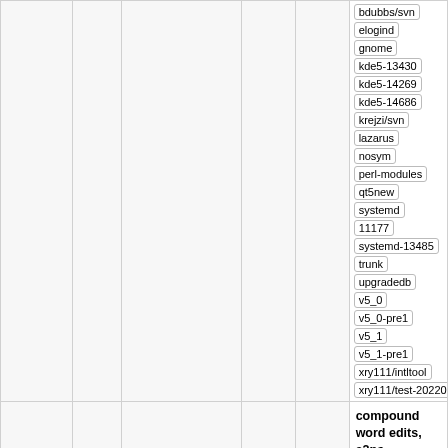|  |  |  |  |  | bdubbs/svn elogind gnome kde5-13430 kde5-14269 kde5-14686 krejzi/svn lazarus nosym perl-modules qt5new systemd 11177 systemd-13485 trunk upgradedb v5_0 v5_0-pre1 v5_1 v5_1-pre1 xry111/intltool xry111/test-20220226 |
|  |  |  |  |  | compound word edits, a2ps expanded intro git-svn-id: … 10.0 10.1 11.0 11.1 6.0 6.1 6.2 6.2.0 6.2.0-rc1 6.2.0-rc2 6.3 6.3-rc1 6.3-rc2 6.3-rc3 7.10 7.4 7.5 7.6 7.6-blfs 7.6-systemd |